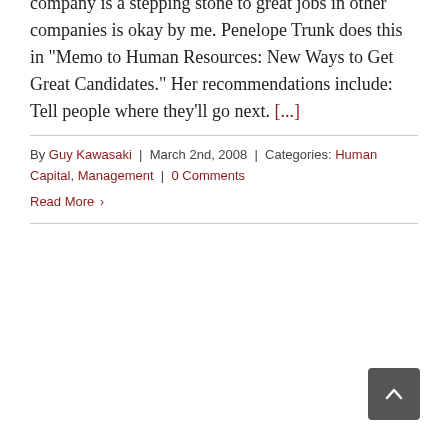company is a stepping stone to great jobs in other companies is okay by me. Penelope Trunk does this in "Memo to Human Resources: New Ways to Get Great Candidates." Her recommendations include: Tell people where they'll go next. [...]
By Guy Kawasaki | March 2nd, 2008 | Categories: Human Capital, Management | 0 Comments
Read More ›